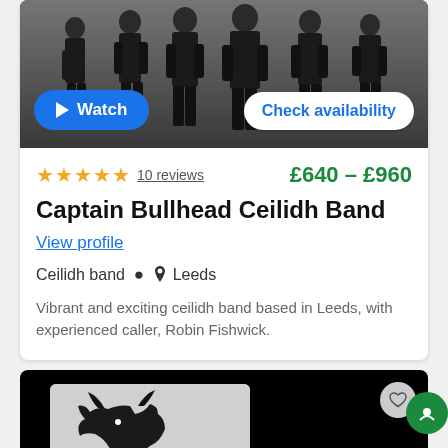[Figure (photo): Group photo of band members walking, dark/grainy style, with Watch and Check availability buttons overlaid]
★★★★★ 10 reviews    £640 – £960
Captain Bullhead Ceilidh Band
View profile
Ceilidh band  📍 Leeds
Vibrant and exciting ceilidh band based in Leeds, with experienced caller, Robin Fishwick.
[Figure (photo): Second listing card with black background and silhouette logo, heart/favorite button, chat button]